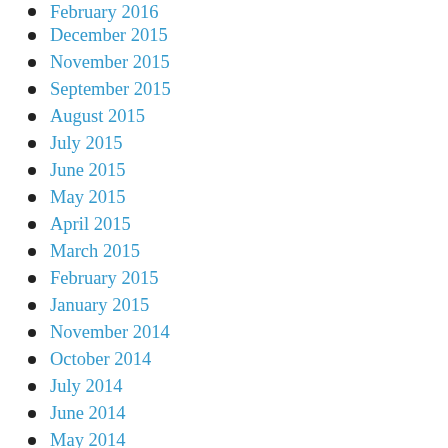February 2016
December 2015
November 2015
September 2015
August 2015
July 2015
June 2015
May 2015
April 2015
March 2015
February 2015
January 2015
November 2014
October 2014
July 2014
June 2014
May 2014